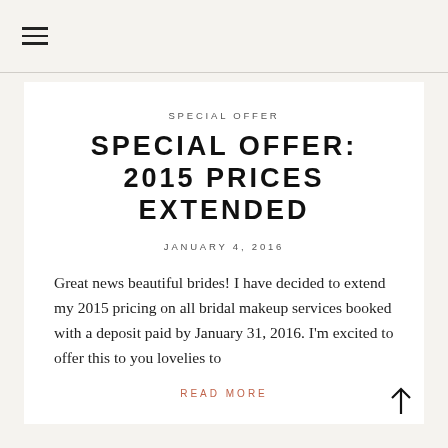≡
SPECIAL OFFER
SPECIAL OFFER: 2015 PRICES EXTENDED
JANUARY 4, 2016
Great news beautiful brides! I have decided to extend my 2015 pricing on all bridal makeup services booked with a deposit paid by January 31, 2016. I'm excited to offer this to you lovelies to
READ MORE